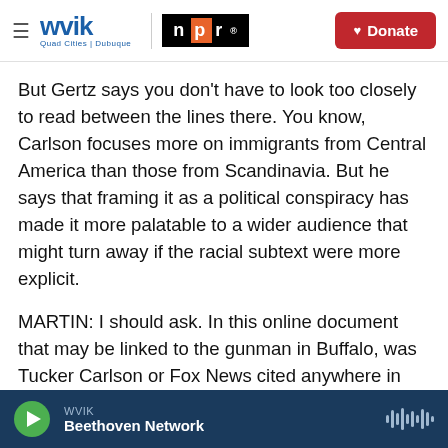WVIK | NPR | Quad Cities | Dubuque — Donate
But Gertz says you don't have to look too closely to read between the lines there. You know, Carlson focuses more on immigrants from Central America than those from Scandinavia. But he says that framing it as a political conspiracy has made it more palatable to a wider audience that might turn away if the racial subtext were more explicit.
MARTIN: I should ask. In this online document that may be linked to the gunman in Buffalo, was Tucker Carlson or Fox News cited anywhere in this?
YOUSEF: Neither was cited. You know, the author of
WVIK — Beethoven Network